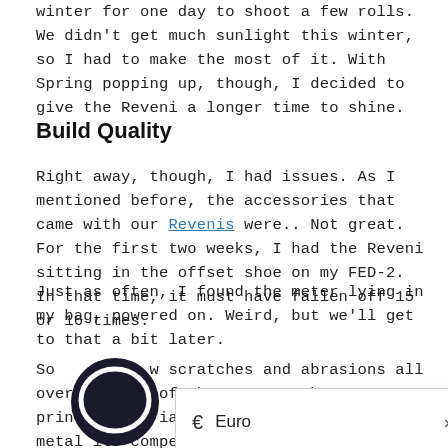winter for one day to shoot a few rolls. We didn't get much sunlight this winter, so I had to make the most of it. With Spring popping up, though, I decided to give the Reveni a longer time to shine.
Build Quality
Right away, though, I had issues. As I mentioned before, the accessories that came with our Revenis were.. Not great. For the first two weeks, I had the Reveni sitting in the offset shoe on my FED-2. In that time, it must have fallen off 15 or 16 times.
Just as often, I found the meter lying in my bag, powered on. Weird, but we'll get to that a bit later.
So now scratches and abrasions all over the top of the unit. That 3D printed material isn't as durable as the metal its competitors are made of.
[Figure (other): Currency selector popup showing Euro symbol and the word Euro with a right arrow]
[Figure (other): Dark circular chat/message icon overlay on the left side of the page]